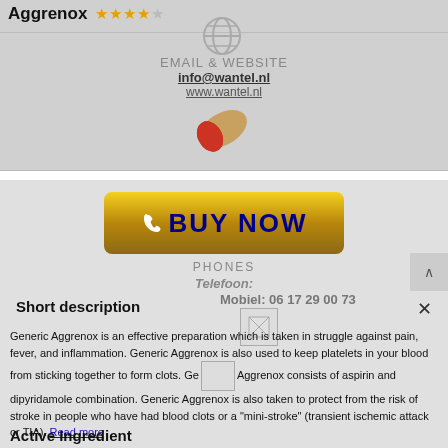Aggrenox ★★★★☆
[Figure (infographic): Globe icon and contact details section with email and website links on grey background, plus a pill image]
EMAIL & WEBSITE
info@wantel.nl
www.wantel.nl
[Figure (infographic): BUY NOW button (yellow-gold gradient) with phone icon, overlaid on grey section with PHONES label and contact numbers]
PHONES
Telefoon:
Mobiel: 06 17 29 00 73
Short description
Generic Aggrenox is an effective preparation which is taken in struggle against pain, fever, and inflammation. Generic Aggrenox is also used to keep platelets in your blood from sticking together to form clots. Generic Aggrenox consists of aspirin and dipyridamole combination. Generic Aggrenox is also taken to protect from the risk of stroke in people who have had blood clots or a "mini-stroke" (transient ischemic attack or TIA). Read more
Active Ingredient